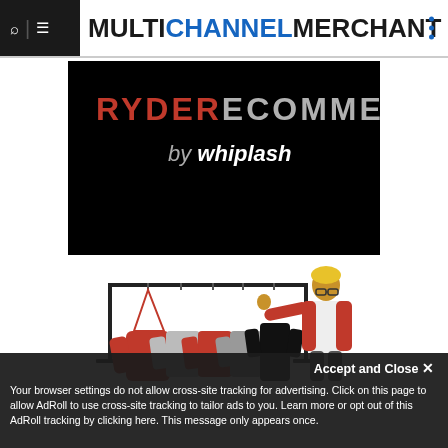MULTICHANNEL MERCHANT
[Figure (logo): Ryder Ecommerce by Whiplash logo on black background]
[Figure (illustration): Illustrated person in red jacket browsing clothing on a rack with red, grey, and black garments]
Accept and Close ×
Your browser settings do not allow cross-site tracking for advertising. Click on this page to allow AdRoll to use cross-site tracking to tailor ads to you. Learn more or opt out of this AdRoll tracking by clicking here. This message only appears once.